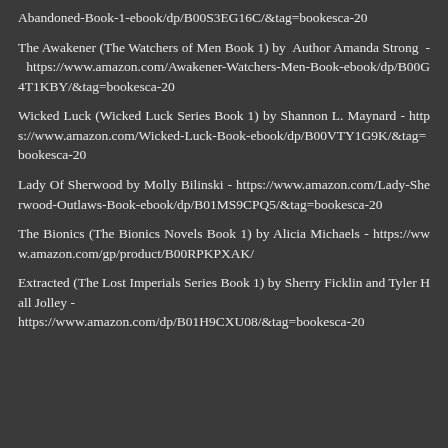Abandoned-Book-1-ebook/dp/B00S3EG16C/&tag=bookesca-20
The Awakener (The Watchers of Men Book 1) by Author Amanda Strong - https://www.amazon.com/Awakener-Watchers-Men-Book-ebook/dp/B00G4T1KBY/&tag=bookesca-20
Wicked Luck (Wicked Luck Series Book 1) by Shannon L. Maynard - https://www.amazon.com/Wicked-Luck-Book-ebook/dp/B00VTY1G9K/&tag=bookesca-20
Lady Of Sherwood by Molly Bilinski - https://www.amazon.com/Lady-Sherwood-Outlaws-Book-ebook/dp/B01MS9CPQ5/&tag=bookesca-20
The Bionics (The Bionics Novels Book 1) by Alicia Michaels - https://www.amazon.com/gp/product/B00RPKPXAK/
Extracted (The Lost Imperials Series Book 1) by Sherry Ficklin and Tyler Hall Jolley - https://www.amazon.com/dp/B01H9CXU08/&tag=bookesca-20